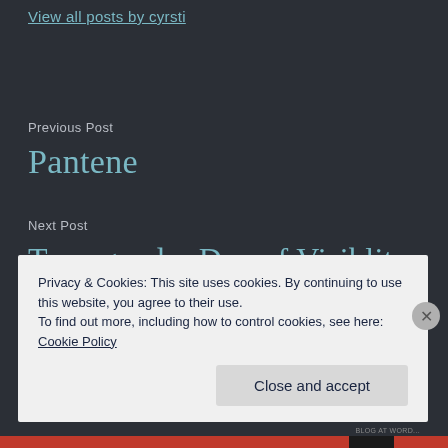View all posts by cyrsti
Previous Post
Pantene
Next Post
Transgender Day of Visiblity
Privacy & Cookies: This site uses cookies. By continuing to use this website, you agree to their use.
To find out more, including how to control cookies, see here: Cookie Policy
Close and accept